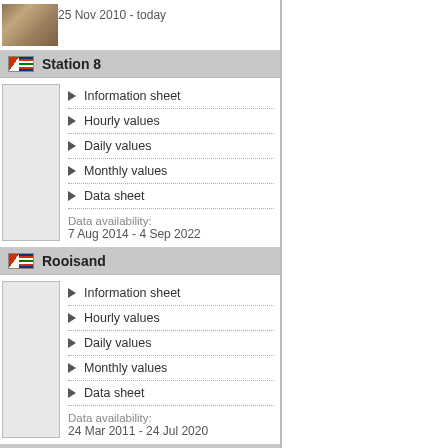[Figure (photo): Thumbnail photo of rocky/sandy terrain]
25 Nov 2010 - today
Station 8
Information sheet
Hourly values
Daily values
Monthly values
Data sheet
Data availability:
7 Aug 2014 - 4 Sep 2022
Rooisand
Information sheet
Hourly values
Daily values
Monthly values
Data sheet
Data availability:
24 Mar 2011 - 24 Jul 2020
Lephepe
Information sheet
Hourly values
Daily values
Monthly values
Data sheet